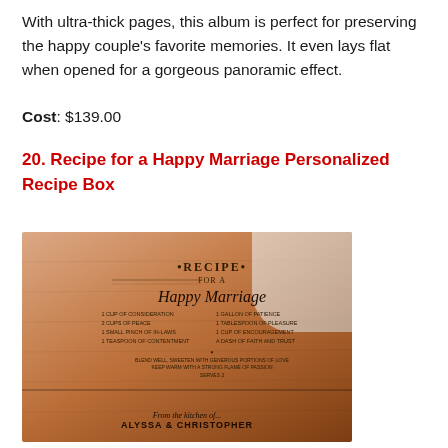With ultra-thick pages, this album is perfect for preserving the happy couple's favorite memories. It even lays flat when opened for a gorgeous panoramic effect.
Cost: $139.00
20. Recipe for a Happy Marriage Personalized Recipe Box
[Figure (photo): A wooden personalized recipe box engraved with 'Recipe for a Happy Marriage' text and 'From the kitchen of... ALYSSA & CHRISTOPHER' at the bottom, photographed against a light background.]